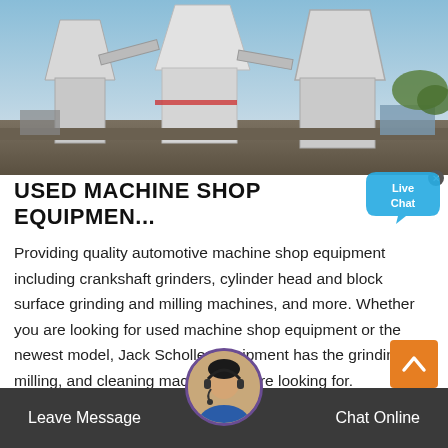[Figure (photo): Industrial machine shop equipment — large white dust collection units and grinding machinery outdoors against a blue sky.]
USED MACHINE SHOP EQUIPMENT...
Providing quality automotive machine shop equipment including crankshaft grinders, cylinder head and block surface grinding and milling machines, and more. Whether you are looking for used machine shop equipment or the newest model, Jack Scholler Equipment has the grinding, milling, and cleaning machines you"re looking for.
[Figure (illustration): Live Chat speech bubble widget with 'Live Chat' text and a close (x) button.]
[Figure (photo): Customer service avatar — woman with headset in a circular profile photo at the bottom bar.]